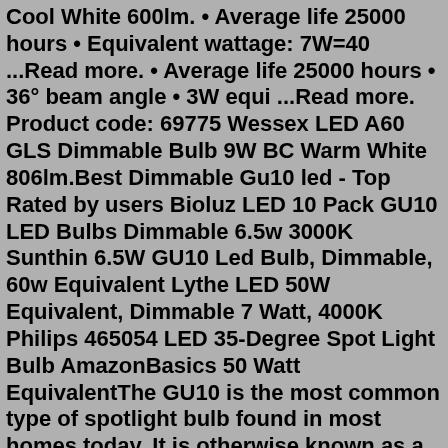Cool White 600lm. • Average life 25000 hours • Equivalent wattage: 7W=40 ...Read more. • Average life 25000 hours • 36° beam angle • 3W equi ...Read more. Product code: 69775 Wessex LED A60 GLS Dimmable Bulb 9W BC Warm White 806lm.Best Dimmable Gu10 led - Top Rated by users Bioluz LED 10 Pack GU10 LED Bulbs Dimmable 6.5w 3000K Sunthin 6.5W GU10 Led Bulb, Dimmable, 60w Equivalent Lythe LED 50W Equivalent, Dimmable 7 Watt, 4000K Philips 465054 LED 35-Degree Spot Light Bulb AmazonBasics 50 Watt EquivalentThe GU10 is the most common type of spotlight bulb found in most homes today. It is otherwise known as a PAR16 light bulb and is often used in places where a bright, directional light is needed, such as kitchens and workspaces. It has the classic spotlight shape, with a narrow base that widens into a flat or slightly rounded aperture.Our Integral 5.6 Watt Classic Glass GU10 LED Bulb is the closest 50W dimmable replacement we offer. Both bulbs produce a very similar spread and intensity of light to a 50W halogen